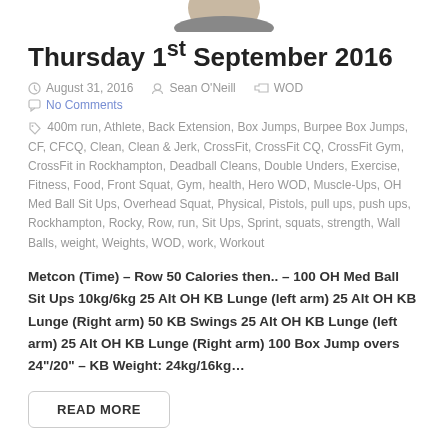[Figure (photo): Partial image of a person at the top of the page]
Thursday 1st September 2016
August 31, 2016   Sean O'Neill   WOD   No Comments
400m run, Athlete, Back Extension, Box Jumps, Burpee Box Jumps, CF, CFCQ, Clean, Clean & Jerk, CrossFit, CrossFit CQ, CrossFit Gym, CrossFit in Rockhampton, Deadball Cleans, Double Unders, Exercise, Fitness, Food, Front Squat, Gym, health, Hero WOD, Muscle-Ups, OH Med Ball Sit Ups, Overhead Squat, Physical, Pistols, pull ups, push ups, Rockhampton, Rocky, Row, run, Sit Ups, Sprint, squats, strength, Wall Balls, weight, Weights, WOD, work, Workout
Metcon (Time) – Row 50 Calories then.. – 100 OH Med Ball Sit Ups 10kg/6kg 25 Alt OH KB Lunge (left arm) 25 Alt OH KB Lunge (Right arm) 50 KB Swings 25 Alt OH KB Lunge (left arm) 25 Alt OH KB Lunge (Right arm) 100 Box Jump overs 24"/20" – KB Weight: 24kg/16kg…
READ MORE